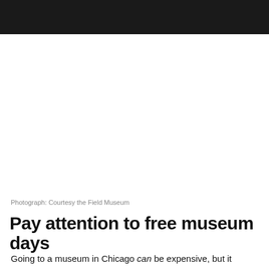[Figure (photo): Dark black navigation/header bar at top of webpage]
Photograph: Courtesy the Field Museum
Pay attention to free museum days
Going to a museum in Chicago can be expensive, but it